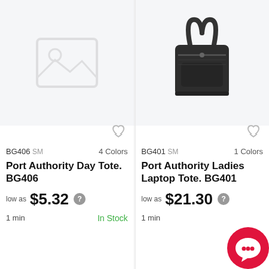[Figure (photo): Placeholder image icon for Port Authority Day Tote BG406]
BG406 SM  4 Colors
Port Authority Day Tote. BG406
low as $5.32
1 min  In Stock
[Figure (photo): Photo of black Port Authority Ladies Laptop Tote BG401]
BG401 SM  1 Colors
Port Authority Ladies Laptop Tote. BG401
low as $21.30
1 min
[Figure (logo): Red circular logo with white chat/smile icon in bottom right corner]